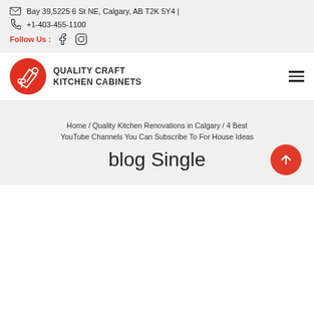Bay 39,5225 6 St NE, Calgary, AB T2K 5Y4 | +1-403-455-1100
Follow Us :
[Figure (logo): Quality Craft Kitchen Cabinets logo — red circle with white tools icon and bold uppercase brand name]
Home / Quality Kitchen Renovations in Calgary / 4 Best YouTube Channels You Can Subscribe To For House Ideas
blog Single